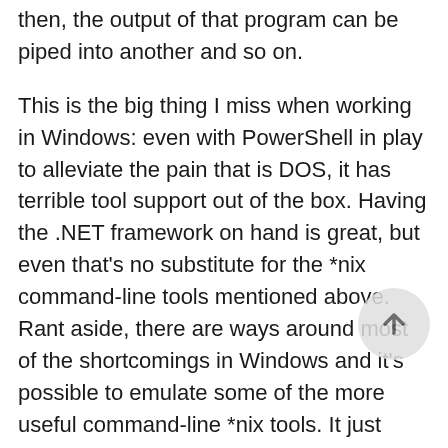then, the output of that program can be piped into another and so on.
This is the big thing I miss when working in Windows: even with PowerShell in play to alleviate the pain that is DOS, it has terrible tool support out of the box. Having the .NET framework on hand is great, but even that's no substitute for the *nix command-line tools mentioned above. Rant aside, there are ways around most of the shortcomings in Windows and it's possible to emulate some of the more useful command-line *nix tools. It just means you may need to put in more effort than a *nix counterpart at times.
For folks interested in automating with their IDE, your “supporting cast” might